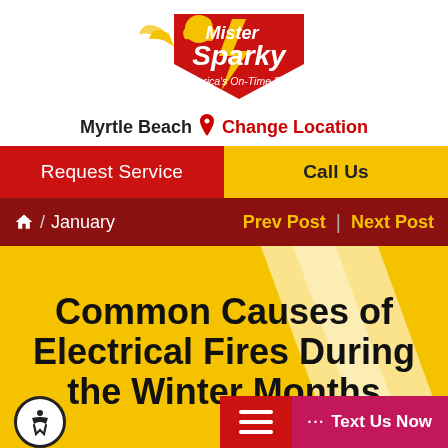[Figure (logo): Mister Sparky logo - America's On-Time Electrician with lightning bolt mascot in red/yellow/black]
Myrtle Beach  Change Location
Request Service  |  Call Us
Home / January  Prev Post | Next Post
Common Causes of Electrical Fires During the Winter Months